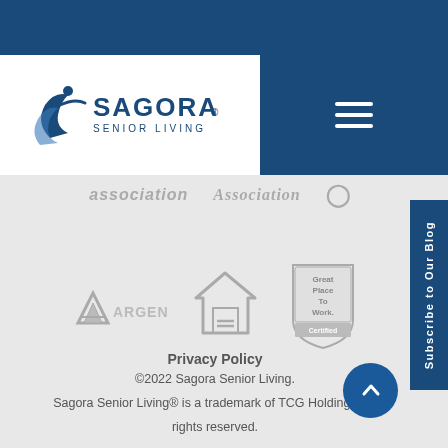[Figure (logo): Sagora Senior Living logo with stylized blue figure and text]
[Figure (infographic): Navigation hamburger menu icon (three white horizontal lines on dark blue background)]
[Figure (infographic): Partially visible association logos/text in gray]
[Figure (infographic): Subscribe to Our Blog sidebar button (vertical text on dark blue)]
[Figure (infographic): Argentum logo in gray]
[Figure (infographic): Equal Housing Opportunity logo (house with equal sign) in gray]
[Figure (infographic): Great Place To Work Certified badge in gray]
Privacy Policy
©2022 Sagora Senior Living. Sagora Senior Living® is a trademark of TCG Holdings. All rights reserved.
[Figure (infographic): Back to top button - dark blue circle with upward chevron]